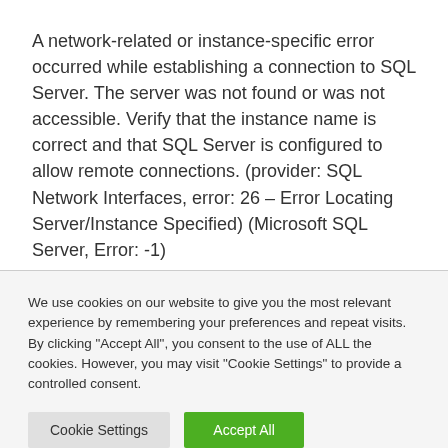A network-related or instance-specific error occurred while establishing a connection to SQL Server. The server was not found or was not accessible. Verify that the instance name is correct and that SQL Server is configured to allow remote connections. (provider: SQL Network Interfaces, error: 26 – Error Locating Server/Instance Specified) (Microsoft SQL Server, Error: -1)
We use cookies on our website to give you the most relevant experience by remembering your preferences and repeat visits. By clicking "Accept All", you consent to the use of ALL the cookies. However, you may visit "Cookie Settings" to provide a controlled consent.